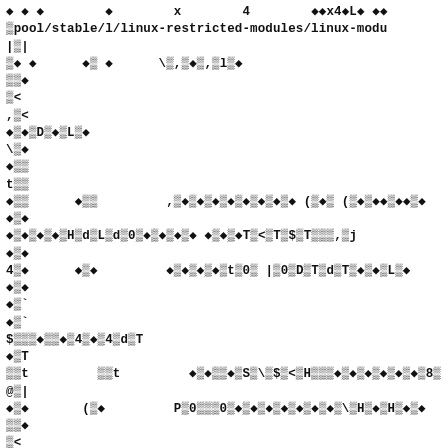Corrupted/encoded source code or binary content showing partial path: pool/stable/l/linux-restricted-modules/linux-modu... with encoded/garbled characters throughout